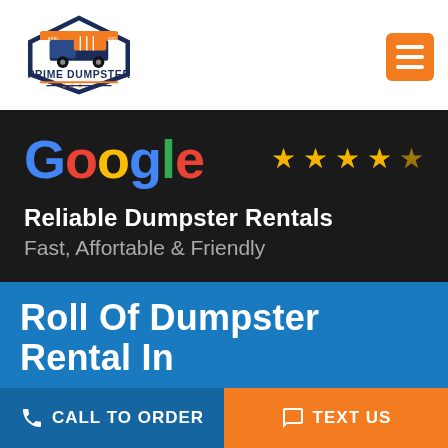[Figure (logo): Prime Dumpster logo with truck graphic, navy blue and orange colors, text reads PRIME DUMPSTER with stars]
[Figure (infographic): Dark banner with Google logo in multicolor, five gold stars rating, text: Reliable Dumpster Rentals, Fast, Affortable & Friendly]
Roll Of Dumpster Rental In
CALL TO ORDER
TEXT US